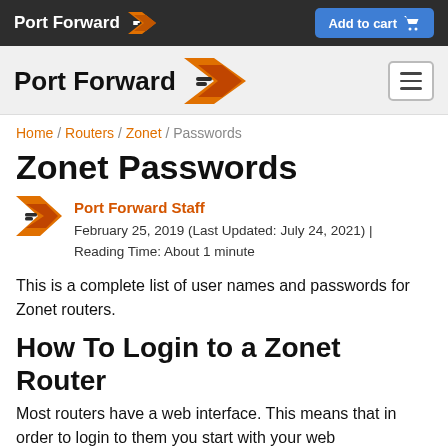Port Forward | Add to cart
[Figure (logo): Port Forward logo with chevron icon in white on dark background and Add to cart button]
Home / Routers / Zonet / Passwords
Zonet Passwords
Port Forward Staff
February 25, 2019 (Last Updated: July 24, 2021) | Reading Time: About 1 minute
This is a complete list of user names and passwords for Zonet routers.
How To Login to a Zonet Router
Most routers have a web interface. This means that in order to login to them you start with your web